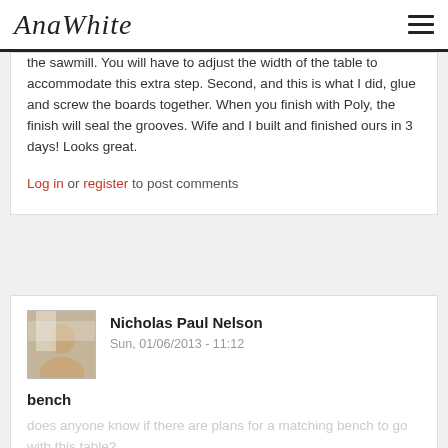AnaWhite
the sawmill. You will have to adjust the width of the table to accommodate this extra step. Second, and this is what I did, glue and screw the boards together. When you finish with Poly, the finish will seal the grooves. Wife and I built and finished ours in 3 days! Looks great.
Log in or register to post comments
Nicholas Paul Nelson
Sun, 01/06/2013 - 11:12
bench
does anyone know if there are plans for a matching bench to go with this table?